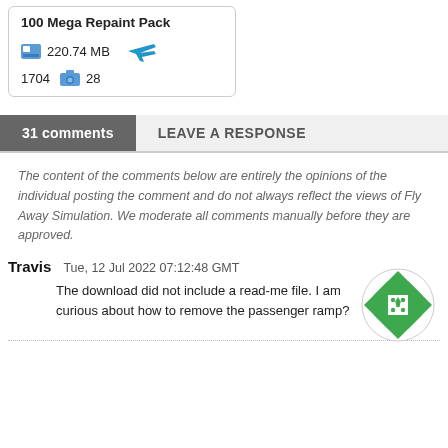100 Mega Repaint Pack
220.74 MB
1704  28
31 comments   LEAVE A RESPONSE
The content of the comments below are entirely the opinions of the individual posting the comment and do not always reflect the views of Fly Away Simulation. We moderate all comments manually before they are approved.
Travis   Tue, 12 Jul 2022 07:12:48 GMT
The download did not include a read-me file. I am curious about how to remove the passenger ramp?